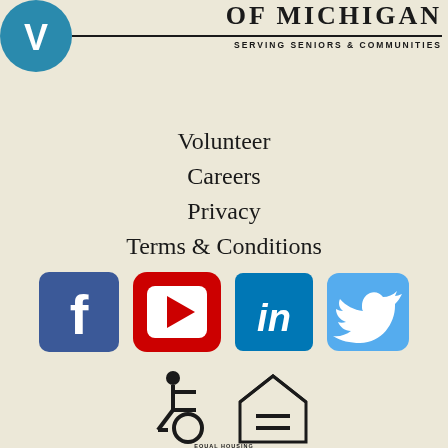[Figure (logo): Organization logo - partial teal/blue circle with white figure, top left corner partially visible]
OF MICHIGAN
SERVING SENIORS & COMMUNITIES
Volunteer
Careers
Privacy
Terms & Conditions
[Figure (logo): Social media icons row: Facebook (blue rounded square with f), YouTube (red rounded square with play button), LinkedIn (blue square with in), Twitter (light blue rounded square with bird)]
[Figure (infographic): Compliance icons: wheelchair accessibility symbol and Equal Housing Opportunity logo with house and equal sign]